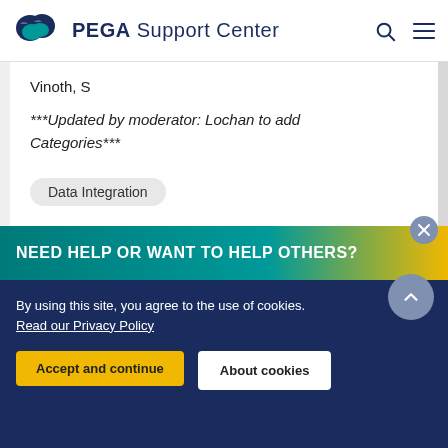PEGA Support Center
Vinoth, S
***Updated by moderator: Lochan to add Categories***
Data Integration
Like (0)
NEED HELP OR WANT TO HELP OTHERS?
By using this site, you agree to the use of cookies.
Read our Privacy Policy
Accept and continue
About cookies